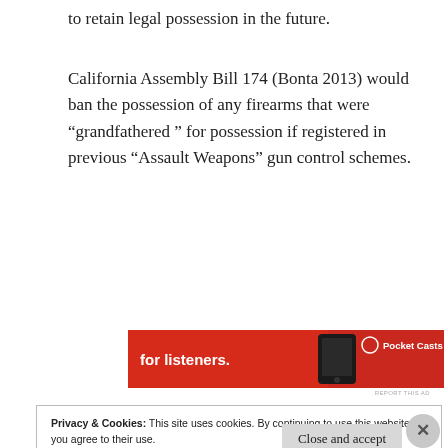to retain legal possession in the future.
California Assembly Bill 174 (Bonta 2013) would ban the possession of any firearms that were “grandfathered ” for possession if registered in previous “Assault Weapons” gun control schemes.
[Figure (other): Red advertisement banner for Pocket Casts podcast app showing text 'for listeners.' with a phone image and the Pocket Casts logo]
Privacy & Cookies: This site uses cookies. By continuing to use this website, you agree to their use.
To find out more, including how to control cookies, see here:
Cookie Policy
Close and accept